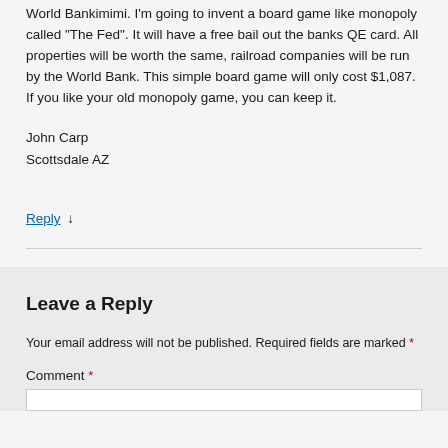World Bankimimi. I'm going to invent a board game like monopoly called “The Fed”. It will have a free bail out the banks QE card. All properties will be worth the same, railroad companies will be run by the World Bank. This simple board game will only cost $1,087. If you like your old monopoly game, you can keep it.
John Carp
Scottsdale AZ
Reply ↓
Leave a Reply
Your email address will not be published. Required fields are marked *
Comment *